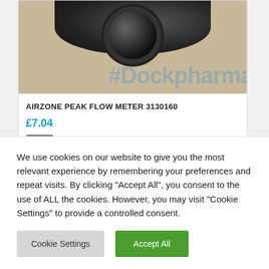[Figure (photo): Product photo of Airzone Peak Flow Meter with a camera on a beige background with #Dockpharma watermark text]
AIRZONE PEAK FLOW METER 3130160
£7.04
We use cookies on our website to give you the most relevant experience by remembering your preferences and repeat visits. By clicking "Accept All", you consent to the use of ALL the cookies. However, you may visit "Cookie Settings" to provide a controlled consent.
Cookie Settings
Accept All